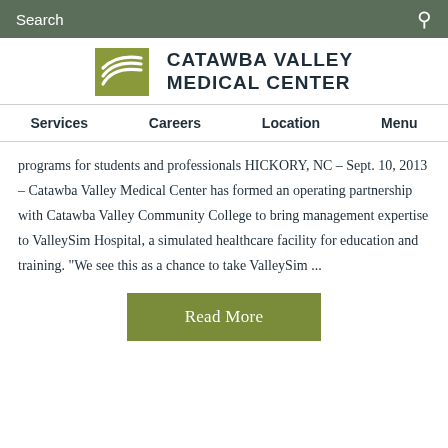Search
[Figure (logo): Catawba Valley Medical Center logo with green wave icon and bold dark text]
Services  Careers  Location  Menu
programs for students and professionals HICKORY, NC – Sept. 10, 2013 – Catawba Valley Medical Center has formed an operating partnership with Catawba Valley Community College to bring management expertise to ValleySim Hospital, a simulated healthcare facility for education and training. "We see this as a chance to take ValleySim ...
Read More